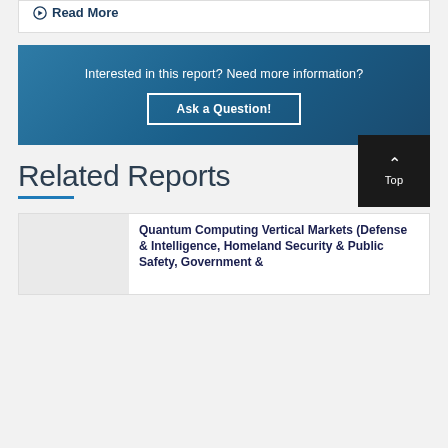Read More
Interested in this report? Need more information?
Ask a Question!
Related Reports
Quantum Computing Vertical Markets (Defense & Intelligence, Homeland Security & Public Safety, Government &